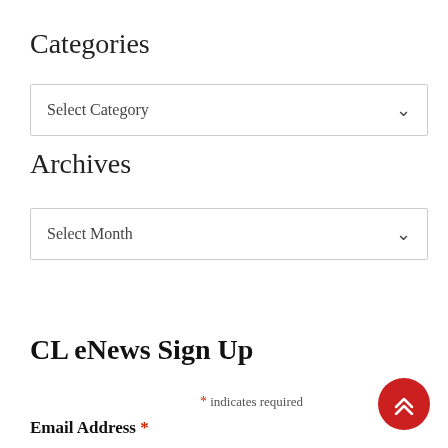Categories
Select Category
Archives
Select Month
CL eNews Sign Up
* indicates required
Email Address *